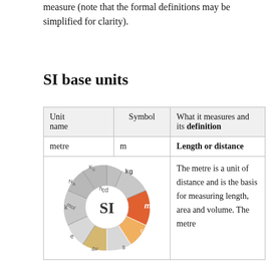measure (note that the formal definitions may be simplified for clarity).
SI base units
| Unit name | Symbol | What it measures and its definition |
| --- | --- | --- |
| metre | m | Length or distance |
| [SI diagram] |  | The metre is a unit of distance and is the basis for measuring length, area and volume. The metre |